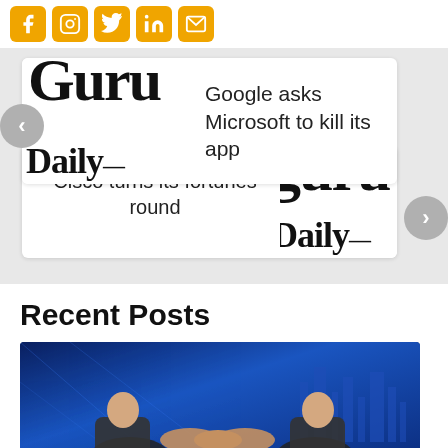[Figure (other): Row of social media sharing icons (Facebook, Instagram, Twitter, LinkedIn, Email) with orange/yellow rounded square backgrounds]
[Figure (other): Carousel slide 1: Guru Daily logo on left, headline 'Google asks Microsoft to kill its app' on right, with left navigation arrow button]
Google asks Microsoft to kill its app
[Figure (other): Carousel slide 2: headline 'Cisco turns its fortunes round' on left, Guru Daily logo on right, with right navigation arrow button]
Cisco turns its fortunes round
Recent Posts
[Figure (photo): Photo of two people in suits shaking hands against a blue digital city background]